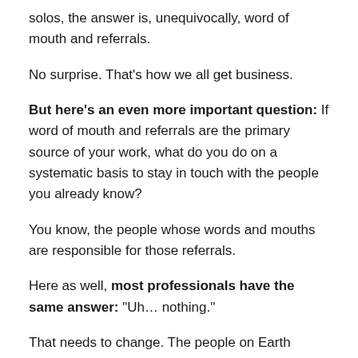solos, the answer is, unequivocally, word of mouth and referrals.
No surprise. That’s how we all get business.
But here’s an even more important question: If word of mouth and referrals are the primary source of your work, what do you do on a systematic basis to stay in touch with the people you already know?
You know, the people whose words and mouths are responsible for those referrals.
Here as well, most professionals have the same answer: “Uh… nothing.”
That needs to change. The people on Earth whom you already know can help you in two important ways:
Way #1  By hiring you again